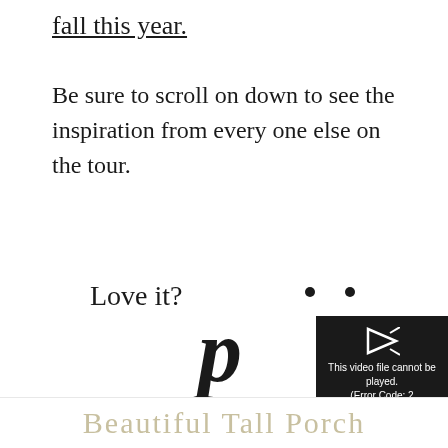fall this year.
Be sure to scroll on down to see the inspiration from every one else on the tour.
[Figure (screenshot): A Pinterest 'Pin It' widget partially visible with large stylized 'p' letter and 'Love it?' text, overlaid by a black video error box reading 'This video file cannot be played. (Error Code: 2 24003)']
Beautiful Tall Porch